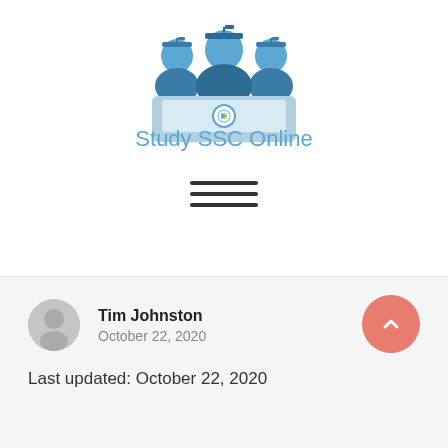[Figure (logo): Study SSC Online logo: three students in graduation caps working on laptops, with the text 'Study SSC Online' below in blue]
[Figure (other): Hamburger menu icon: three horizontal dark lines]
Tim Johnston
October 22, 2020
Last updated: October 22, 2020